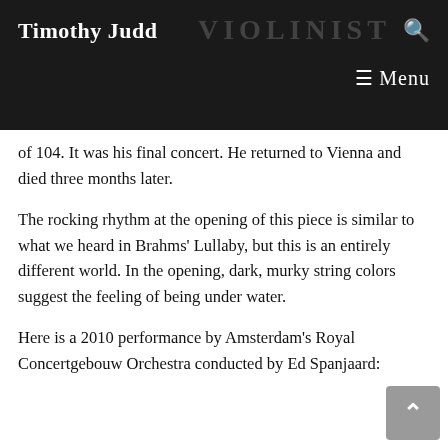Timothy Judd VIOLINIST
of 104. It was his final concert. He returned to Vienna and died three months later.
The rocking rhythm at the opening of this piece is similar to what we heard in Brahms' Lullaby, but this is an entirely different world. In the opening, dark, murky string colors suggest the feeling of being under water.
Here is a 2010 performance by Amsterdam's Royal Concertgebouw Orchestra conducted by Ed Spanjaard: